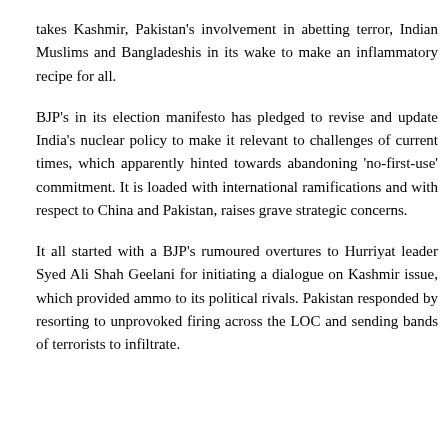takes Kashmir, Pakistan's involvement in abetting terror, Indian Muslims and Bangladeshis in its wake to make an inflammatory recipe for all.
BJP's in its election manifesto has pledged to revise and update India's nuclear policy to make it relevant to challenges of current times, which apparently hinted towards abandoning 'no-first-use' commitment. It is loaded with international ramifications and with respect to China and Pakistan, raises grave strategic concerns.
It all started with a BJP's rumoured overtures to Hurriyat leader Syed Ali Shah Geelani for initiating a dialogue on Kashmir issue, which provided ammo to its political rivals. Pakistan responded by resorting to unprovoked firing across the LOC and sending bands of terrorists to infiltrate.